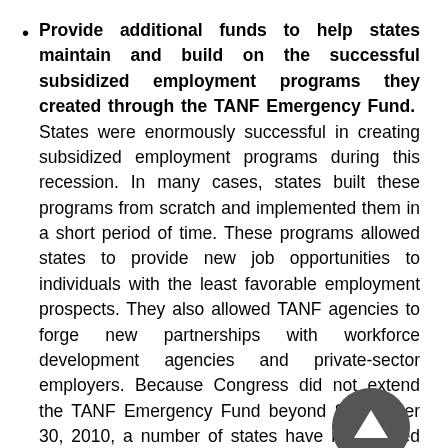Provide additional funds to help states maintain and build on the successful subsidized employment programs they created through the TANF Emergency Fund. States were enormously successful in creating subsidized employment programs during this recession. In many cases, states built these programs from scratch and implemented them in a short period of time. These programs allowed states to provide new job opportunities to individuals with the least favorable employment prospects. They also allowed TANF agencies to forge new partnerships with workforce development agencies and private-sector employers. Because Congress did not extend the TANF Emergency Fund beyond September 30, 2010, a number of states have now ended their programs (or will shortly) since they do not have the funds to sustain them; many of these states would rekindle (or continue) their programs if new dedicated funding were available. These programs have an important role to play in enabling